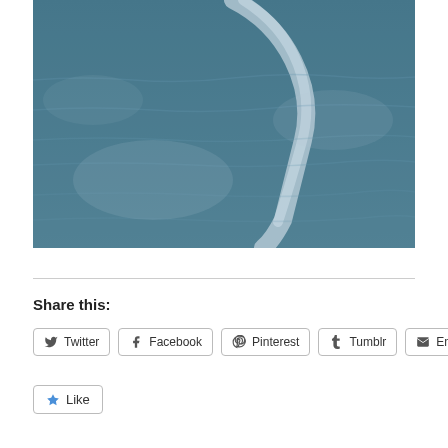[Figure (photo): Ocean water surface with ripples and a white wake trail, blue-gray color tones]
Share this:
Twitter  Facebook  Pinterest  Tumblr  Email
Like